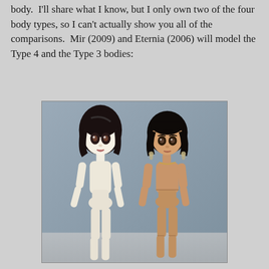body.  I'll share what I know, but I only own two of the four body types, so I can't actually show you all of the comparisons.  Mir (2009) and Eternia (2006) will model the Type 4 and the Type 3 bodies:
[Figure (photo): Two nude fashion dolls standing side by side against a grey-blue background. The left doll (Mir, 2009, Type 4 body) has a pale/cream complexion, long dark wavy hair, and large painted eyes. The right doll (Eternia, 2006, Type 3 body) has a tan complexion, dark bob-style hair with bangs, and is wearing small earrings.]